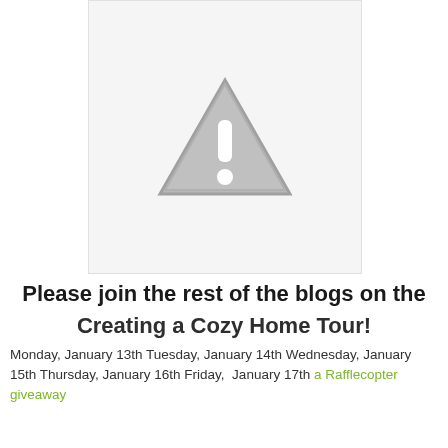[Figure (illustration): A grey warning/caution triangle icon with an exclamation mark, shown inside a white rectangle with light border]
Please join the rest of the blogs on the
Creating a Cozy Home Tour!
Monday, January 13th Tuesday, January 14th Wednesday, January 15th Thursday, January 16th Friday, January 17th a Rafflecopter giveaway